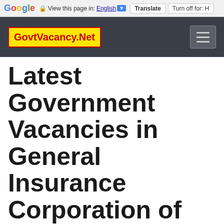Google  View this page in: English  Translate  Turn off for: H
[Figure (screenshot): GovtVacancy.Net website navigation bar with yellow logo and hamburger menu on dark background]
Latest Government Vacancies in General Insurance Corporation of India (GIC of India) for Graduates
[Figure (logo): GIC Re - General Insurance Corporation of India logo with purple emblem]